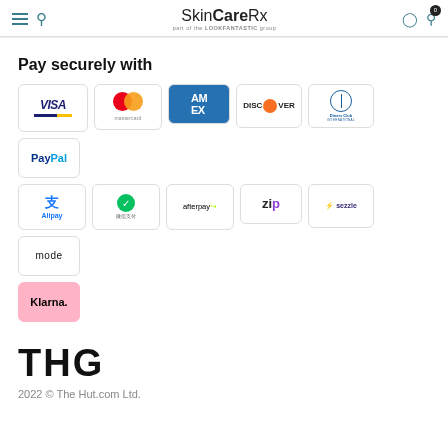SkinCareRx — part of the LOOKFANTASTIC group
Pay securely with
[Figure (logo): Payment method logos: Visa, Mastercard, American Express, Discover, Diners Club International, PayPal, Alipay, WeChat Pay, Afterpay, Zip, Sezzle, Mode, Klarna]
[Figure (logo): THG logo]
2022 © The Hut.com Ltd.